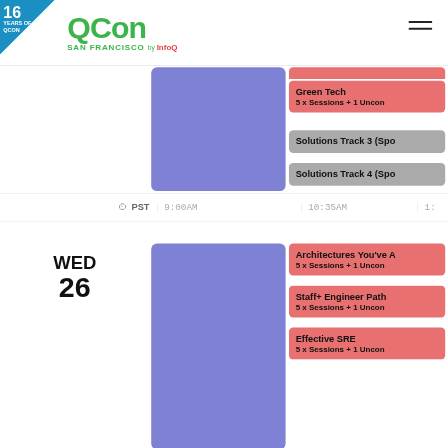16 YEARS OF QCON — QCon San Francisco by InfoQ
[Figure (screenshot): QCon San Francisco schedule page showing conference tracks for multiple days including Green Tech, Solutions Track 3, Solutions Track 4, Architectures You've Always Wanted to Build, Staff+ Engineer Path, and Effective SRE with blue time blocks and times 9:00AM, 10:35AM, and partial next column. WED 26 day label visible.]
Green Tech
5 x Sessions + 1 Uncon
Solutions Track 3 (Spo
Solutions Track 4 (Spo
PST  9:00AM  10:35AM  1:
WED
26
Architectures You've A
5 x Sessions + 1 Uncon
Staff+ Engineer Path
5 x Sessions + 1 Uncon
Effective SRE
5 x Sessions + 1 Uncon